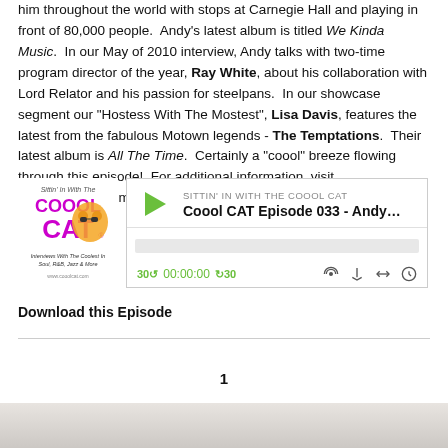him throughout the world with stops at Carnegie Hall and playing in front of 80,000 people. Andy's latest album is titled We Kinda Music. In our May of 2010 interview, Andy talks with two-time program director of the year, Ray White, about his collaboration with Lord Relator and his passion for steelpans. In our showcase segment our "Hostess With The Mostest", Lisa Davis, features the latest from the fabulous Motown legends - The Temptations. Their latest album is All The Time. Certainly a "coool" breeze flowing through this episode! For additional information, visit www.cooolcat.com
[Figure (screenshot): Podcast player widget for 'Sittin In With The Coool Cat' showing episode 'Coool CAT Episode 033 - Andy Nar...' with a green play button, time display 00:00:00, skip controls, and player icons.]
Download this Episode
1